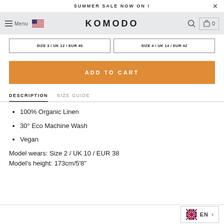SUMMER SALE NOW ON !
[Figure (screenshot): Komodo brand navigation bar with hamburger menu, US flag, KOMODO logo, search and bag icons]
SIZE 3 / UK 12 / EUR 40   SIZE 4 / UK 14 / EUR 42
ADD TO CART
DESCRIPTION   SIZE GUIDE
100% Organic Linen
30° Eco Machine Wash
Vegan
Model wears: Size 2 / UK 10 / EUR 38
Model's height: 173cm/5'8"
EN